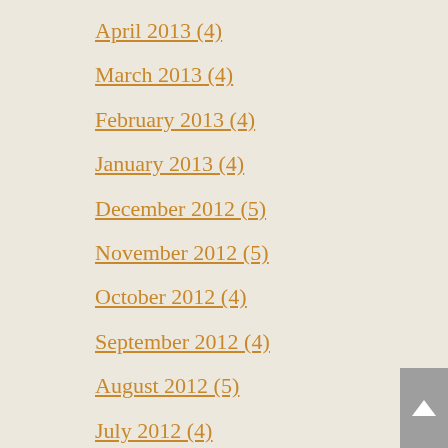April 2013 (4)
March 2013 (4)
February 2013 (4)
January 2013 (4)
December 2012 (5)
November 2012 (5)
October 2012 (4)
September 2012 (4)
August 2012 (5)
July 2012 (4)
June 2012 (5)
May 2012 (4)